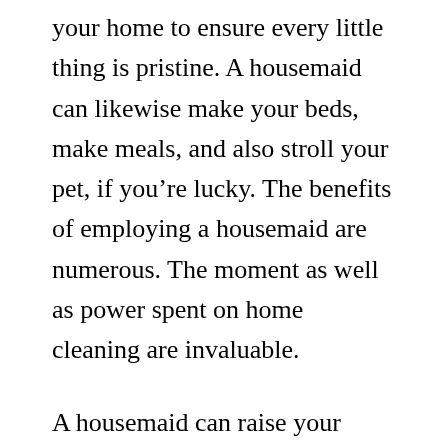your home to ensure every little thing is pristine. A housemaid can likewise make your beds, make meals, and also stroll your pet, if you're lucky. The benefits of employing a housemaid are numerous. The moment as well as power spent on home cleaning are invaluable.
A housemaid can raise your leisure time and decrease the anxiety of house duties. A caretaker can also maintain a regular for cleansing, giving framework and also boosted